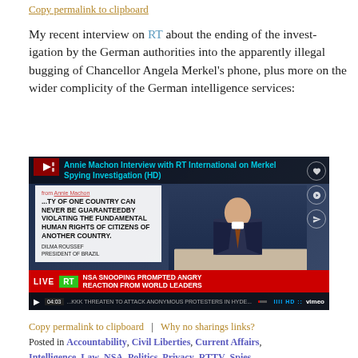Copy permalink to clipboard
My recent interview on RT about the ending of the investigation by the German authorities into the apparently illegal bugging of Chancellor Angela Merkel's phone, plus more on the wider complicity of the German intelligence services:
[Figure (screenshot): Video thumbnail/screenshot of Annie Machon Interview with RT International on Merkel Spying Investigation (HD). Shows RT news presenter at desk with Dilma Rousseff quote on screen: 'THE SECURITY OF ONE COUNTRY CAN NEVER BE GUARANTEEDBY VIOLATING THE FUNDAMENTAL HUMAN RIGHTS OF CITIZENS OF ANOTHER COUNTRY.' Bottom banner reads: LIVE RT NSA SNOOPING PROMPTED ANGRY REACTION FROM WORLD LEADERS. Vimeo player controls visible at bottom. Timestamp 04:03.]
Copy permalink to clipboard   |   Why no sharings links?
Posted in Accountability, Civil Liberties, Current Affairs, Intelligence, Law, NSA, Politics, Privacy, RTTV, Spies